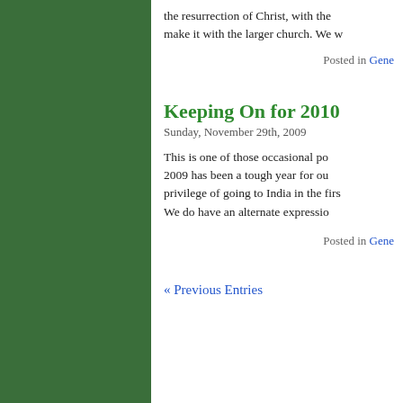the resurrection of Christ, with the make it with the larger church. We w
Posted in Gene
Keeping On for 2010
Sunday, November 29th, 2009
This is one of those occasional po... 2009 has been a tough year for ou... privilege of going to India in the firs... We do have an alternate expressio...
Posted in Gene
« Previous Entries